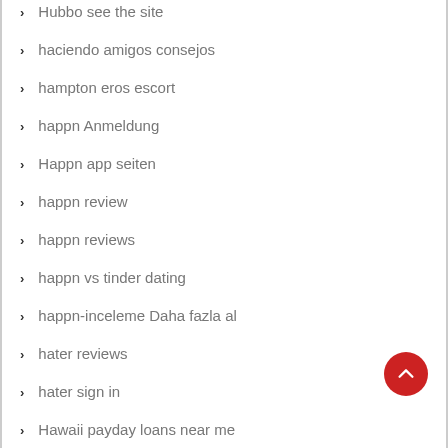Hubbo see the site
haciendo amigos consejos
hampton eros escort
happn Anmeldung
Happn app seiten
happn review
happn reviews
happn vs tinder dating
happn-inceleme Daha fazla al
hater reviews
hater sign in
Hawaii payday loans near me
Hawaii_Lihue payday loans
Health & FitnessMedicine
Health & FitnessWeight Loss
heated affairs 3berpr3fung